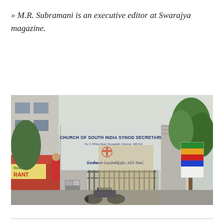» M.R. Subramani is an executive editor at Swarajya magazine.
[Figure (photo): Photograph of the entrance gate to the Church of South India Synod Secretariat. A large sign reads 'CHURCH OF SOUTH INDIA SYNOD SECRETARIAT' with a red cross emblem and text in Tamil below. The gate has iron railings. To the left is a building with a restaurant sign showing 'RANT'. Trees are visible on the right. A motorcycle is parked in the foreground. A colorful signboard is visible on the right side.]